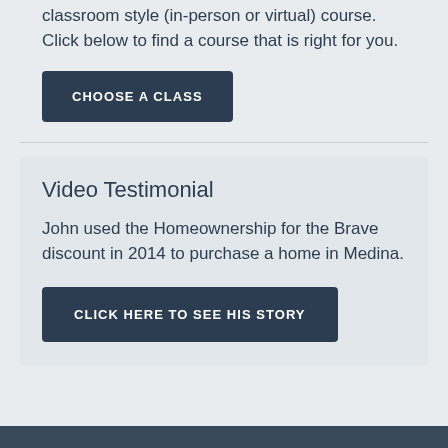classroom style (in-person or virtual) course. Click below to find a course that is right for you.
CHOOSE A CLASS
Video Testimonial
John used the Homeownership for the Brave discount in 2014 to purchase a home in Medina.
CLICK HERE TO SEE HIS STORY